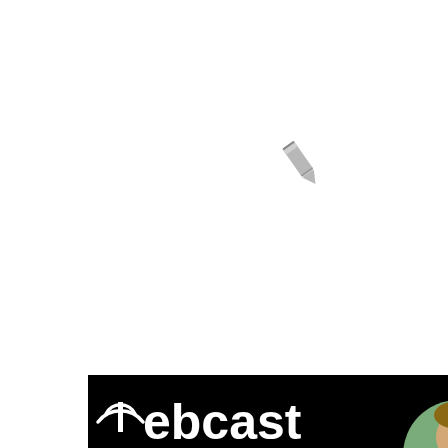[Figure (illustration): Gray pencil/edit icon near top center of page]
[Figure (screenshot): Webcast episode 34 promotional image on black background. Shows partial text: 'ebcast' with wifi signal icon, 'dcast episode 34', 'ver Deny an portunity at t Glance', 'wit Julie R', 'author, athlete & of the Claire's Day bo'. Has a circular portrait photo of a person and the Claire's Day logo (oval with blue and pink text).]
[Figure (illustration): Gray pencil/edit icon near bottom center of page]